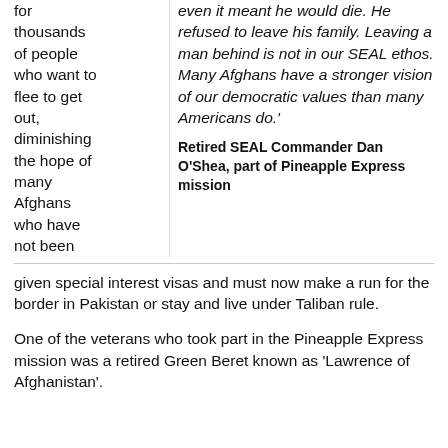for thousands of people who want to flee to get out, diminishing the hope of many Afghans who have not been
even it meant he would die. He refused to leave his family. Leaving a man behind is not in our SEAL ethos. Many Afghans have a stronger vision of our democratic values than many Americans do.'
Retired SEAL Commander Dan O'Shea, part of Pineapple Express mission
given special interest visas and must now make a run for the border in Pakistan or stay and live under Taliban rule.
One of the veterans who took part in the Pineapple Express mission was a retired Green Beret known as 'Lawrence of Afghanistan'.